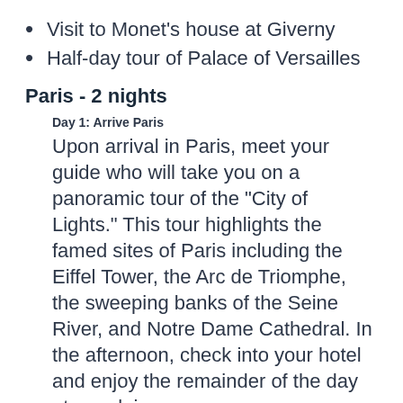Visit to Monet's house at Giverny
Half-day tour of Palace of Versailles
Paris - 2 nights
Day 1: Arrive Paris
Upon arrival in Paris, meet your guide who will take you on a panoramic tour of the "City of Lights." This tour highlights the famed sites of Paris including the Eiffel Tower, the Arc de Triomphe, the sweeping banks of the Seine River, and Notre Dame Cathedral. In the afternoon, check into your hotel and enjoy the remainder of the day at your leisure.
Day 2:
Today enjoy a full day tour of Paris